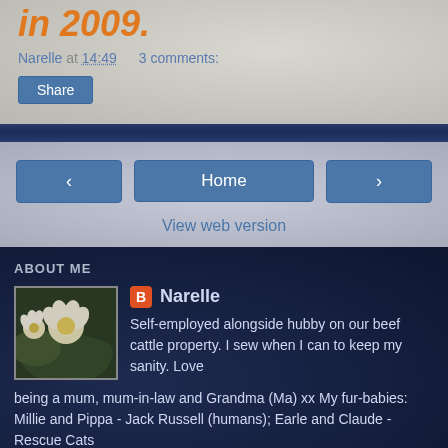in 2009.
Narelle at 14:49    3 comments:
Share
[Figure (infographic): Navigation bar with dark blue gradient stripe]
< Home >
View web version
ABOUT ME
[Figure (photo): Profile photo of flowers (frangipani/plumeria, white and yellow)]
Narelle - Self-employed alongside hubby on our beef cattle property. I sew when I can to keep my sanity. Love being a mum, mum-in-law and Grandma (Ma) xx My fur-babies: Millie and Pippa - Jack Russell (humans); Earle and Claude - Rescue Cats
View my complete profile
Powered by Blogger.